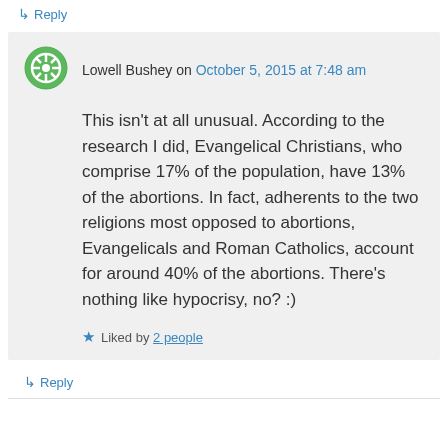↳ Reply
Lowell Bushey on October 5, 2015 at 7:48 am
This isn't at all unusual. According to the research I did, Evangelical Christians, who comprise 17% of the population, have 13% of the abortions. In fact, adherents to the two religions most opposed to abortions, Evangelicals and Roman Catholics, account for around 40% of the abortions. There's nothing like hypocrisy, no? :)
Liked by 2 people
↳ Reply